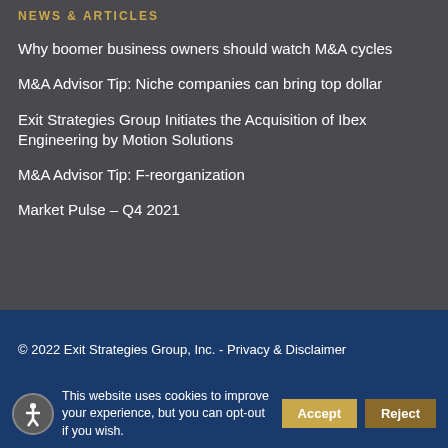NEWS & ARTICLES
Why boomer business owners should watch M&A cycles
M&A Advisor Tip: Niche companies can bring top dollar
Exit Strategies Group Initiates the Acquisition of Ibex Engineering by Motion Solutions
M&A Advisor Tip: F-reorganization
Market Pulse – Q4 2021
© 2022 Exit Strategies Group, Inc. - Privacy & Disclaimer
This website uses cookies to improve your experience, but you can opt-out if you wish.